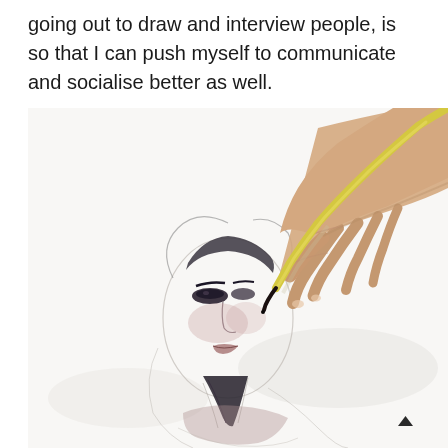going out to draw and interview people, is so that I can push myself to communicate and socialise better as well.
[Figure (photo): A hand holding a yellow pencil/brush drawing a fashion illustration of a woman's face with dark eye makeup and reddish-mauve tones on a white paper. A red-tipped pencil lies nearby on the paper.]